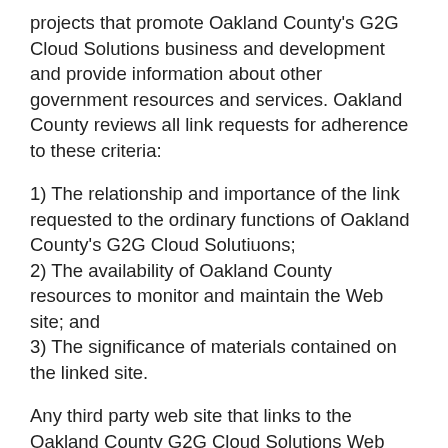projects that promote Oakland County's G2G Cloud Solutions business and development and provide information about other government resources and services. Oakland County reviews all link requests for adherence to these criteria:
1) The relationship and importance of the link requested to the ordinary functions of Oakland County's G2G Cloud Solutiuons;
2) The availability of Oakland County resources to monitor and maintain the Web site; and
3) The significance of materials contained on the linked site.
Any third party web site that links to the Oakland County G2G Cloud Solutions Web site:
1) Shall not create a frame, browser or border environment around any of the content of the